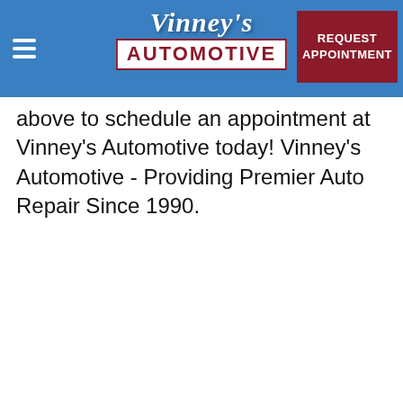[Figure (logo): Vinney's Automotive logo with script text 'Vinney's' above block text 'AUTOMOTIVE' in a white box with dark red border, on a blue header bar]
REQUEST APPOINTMENT
above to schedule an appointment at Vinney's Automotive today! Vinney's Automotive - Providing Premier Auto Repair Since 1990.